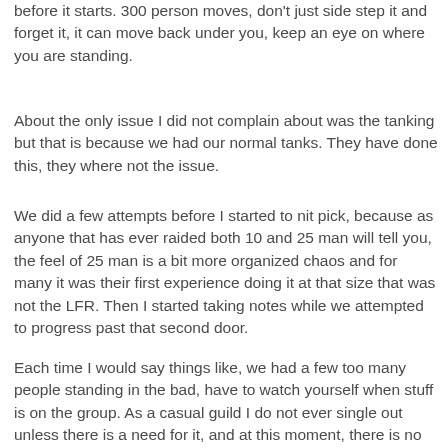before it starts.  300 person moves, don't just side step it and forget it, it can move back under you, keep an eye on where you are standing.
About the only issue I did not complain about was the tanking but that is because we had our normal tanks.  They have done this, they where not the issue.
We did a few attempts before I started to nit pick, because as anyone that has ever raided both 10 and 25 man will tell you, the feel of 25 man is a bit more organized chaos and for many it was their first experience doing it at that size that was not the LFR.  Then I started taking notes while we attempted to progress past that second door.
Each time I would say things like, we had a few too many people standing in the bad, have to watch yourself when stuff is on the group.  As a casual guild I do not ever single out unless there is a need for it, and at this moment, there is no need for it.  Let the people think for themselves.  Let them learn for themselves.  They should be able to.  That is how I learned, by making mistakes.  That is how any decent player learns, they learn from their mistakes.